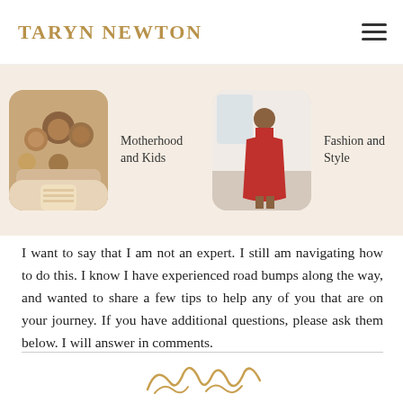TARYN NEWTON
[Figure (photo): Photo of a Black family group smiling together]
Motherhood and Kids
[Figure (photo): Photo of a woman in a red dress in a bright room]
Fashion and Style
I want to say that I am not an expert. I still am navigating how to do this. I know I have experienced road bumps along the way, and wanted to share a few tips to help any of you that are on your journey. If you have additional questions, please ask them below. I will answer in comments.
[Figure (illustration): Partial gold cursive signature/logo at the bottom of the page]